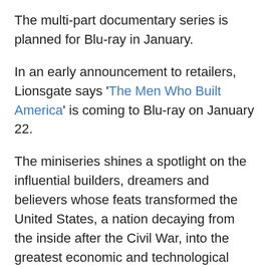The multi-part documentary series is planned for Blu-ray in January.
In an early announcement to retailers, Lionsgate says 'The Men Who Built America' is coming to Blu-ray on January 22.
The miniseries shines a spotlight on the influential builders, dreamers and believers whose feats transformed the United States, a nation decaying from the inside after the Civil War, into the greatest economic and technological superpower the world had ever seen. 'The Men Who Built America' is the story of a nation at the crossroads and of the people who catapulted it to prosperity.
Specs have yet to be revealed, but the 3-disc set will